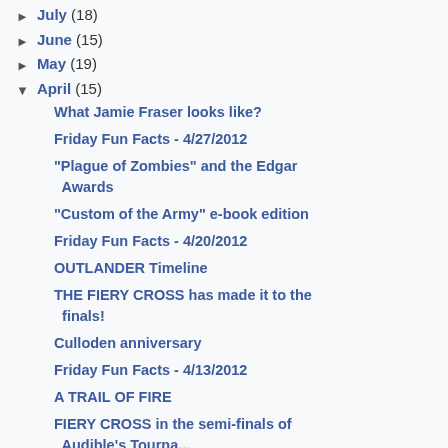► July (18)
► June (15)
► May (19)
▼ April (15)
What Jamie Fraser looks like?
Friday Fun Facts - 4/27/2012
"Plague of Zombies" and the Edgar Awards
"Custom of the Army" e-book edition
Friday Fun Facts - 4/20/2012
OUTLANDER Timeline
THE FIERY CROSS has made it to the finals!
Culloden anniversary
Friday Fun Facts - 4/13/2012
A TRAIL OF FIRE
FIERY CROSS in the semi-finals of Audible's Tourna...